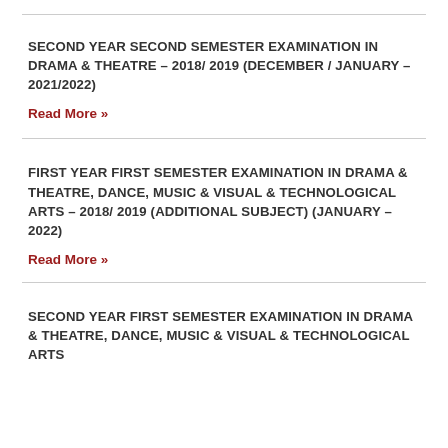SECOND YEAR SECOND SEMESTER EXAMINATION IN DRAMA & THEATRE – 2018/ 2019 (DECEMBER / JANUARY – 2021/2022)
Read More »
FIRST YEAR FIRST SEMESTER EXAMINATION IN DRAMA & THEATRE, DANCE, MUSIC & VISUAL & TECHNOLOGICAL ARTS – 2018/ 2019 (ADDITIONAL SUBJECT) (JANUARY – 2022)
Read More »
SECOND YEAR FIRST SEMESTER EXAMINATION IN DRAMA & THEATRE, DANCE, MUSIC & VISUAL & TECHNOLOGICAL ARTS